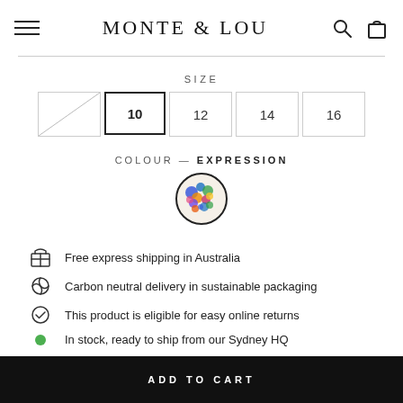MONTE & LOU
SIZE
8  10  12  14  16
COLOUR — EXPRESSION
[Figure (illustration): Circular colour swatch showing a multicoloured floral/abstract pattern in blues, greens, pinks, orange on a light background, outlined with a black circle border]
Free express shipping in Australia
Carbon neutral delivery in sustainable packaging
This product is eligible for easy online returns
In stock, ready to ship from our Sydney HQ
ADD TO CART